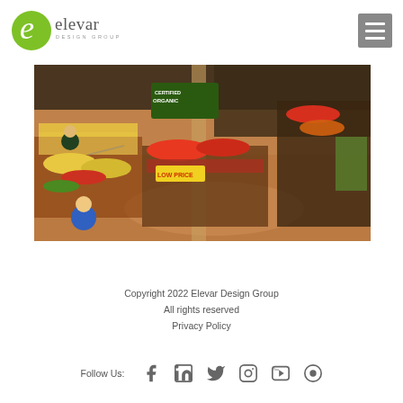[Figure (logo): Elevar Design Group logo — green circular 'e' icon with 'elevar DESIGN GROUP' text]
[Figure (photo): Aerial/overhead view of a grocery store produce section with colorful fruit and vegetable displays, shoppers visible, 'CERTIFIED ORGANIC' and 'LOW PRICE' signs visible]
Copyright 2022 Elevar Design Group
All rights reserved
Privacy Policy
Follow Us: